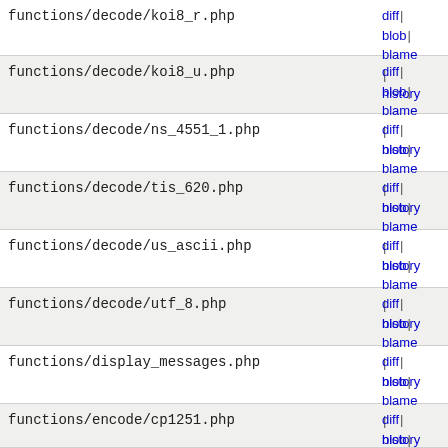functions/decode/koi8_u.php | diff | blob | blame | history
functions/decode/ns_4551_1.php | diff | blob | blame | history
functions/decode/tis_620.php | diff | blob | blame | history
functions/decode/us_ascii.php | diff | blob | blame | history
functions/decode/utf_8.php | diff | blob | blame | history
functions/display_messages.php | diff | blob | blame | history
functions/encode/cp1251.php | diff | blob | blame | history